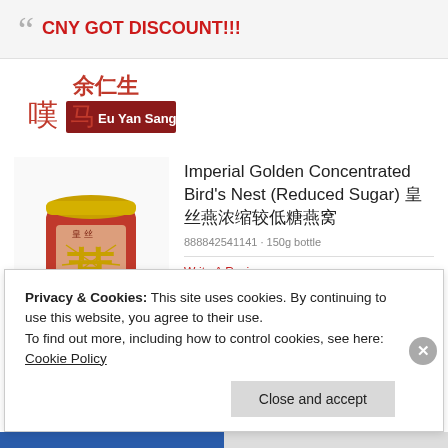CNY GOT DISCOUNT!!!
[Figure (logo): Eu Yan Sang logo with Chinese characters and red banner]
[Figure (photo): Jar of Imperial Golden Concentrated Bird's Nest (Reduced Sugar) product]
Imperial Golden Concentrated Bird's Nest (Reduced Sugar) 皇丝燕浓缩较低糖燕窝
888842541141 · 150g bottle
Write A Review
Privacy & Cookies: This site uses cookies. By continuing to use this website, you agree to their use.
To find out more, including how to control cookies, see here: Cookie Policy
Close and accept